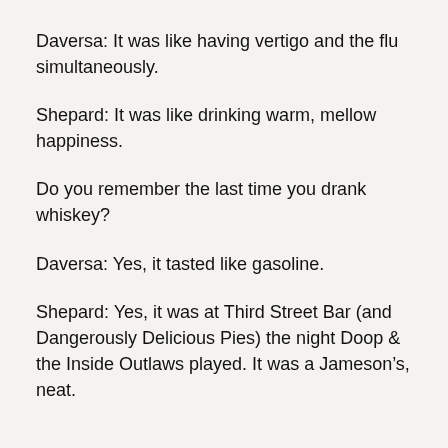Daversa: It was like having vertigo and the flu simultaneously.
Shepard: It was like drinking warm, mellow happiness.
Do you remember the last time you drank whiskey?
Daversa: Yes, it tasted like gasoline.
Shepard: Yes, it was at Third Street Bar (and Dangerously Delicious Pies) the night Doop & the Inside Outlaws played. It was a Jameson’s, neat.